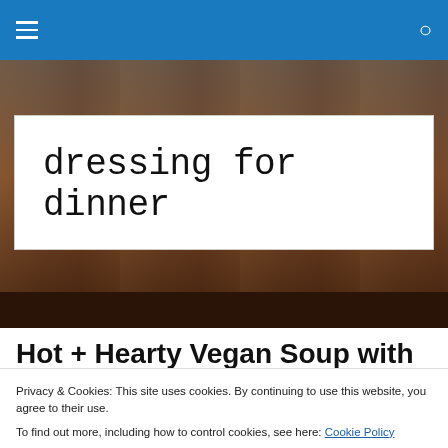Navigation bar with hamburger menu and search icon
[Figure (photo): Hero background image showing food/people scene, partially visible behind the site title box]
dressing for dinner
Hot + Hearty Vegan Soup with
Privacy & Cookies: This site uses cookies. By continuing to use this website, you agree to their use.
To find out more, including how to control cookies, see here: Cookie Policy
Close and accept